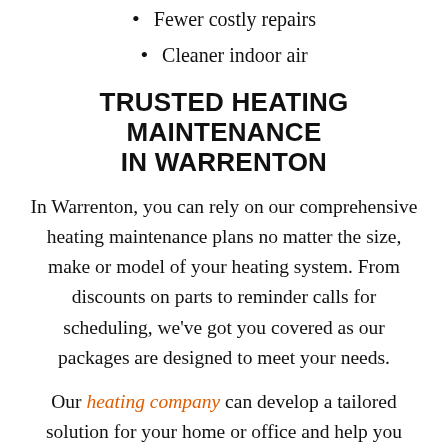Fewer costly repairs
Cleaner indoor air
TRUSTED HEATING MAINTENANCE IN WARRENTON
In Warrenton, you can rely on our comprehensive heating maintenance plans no matter the size, make or model of your heating system. From discounts on parts to reminder calls for scheduling, we’ve got you covered as our packages are designed to meet your needs.
Our heating company can develop a tailored solution for your home or office and help you boost and maintain the comfort level of your indoor environment. High-quality furnace maintenance,